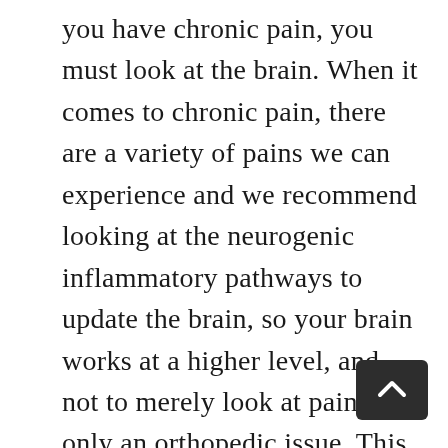you have chronic pain, you must look at the brain. When it comes to chronic pain, there are a variety of pains we can experience and we recommend looking at the neurogenic inflammatory pathways to update the brain, so your brain works at a higher level, and not to merely look at pain as only an orthopedic issue. This is how I believe you can get your chronic pain areas to calm down. As you update the brain with brain-based care, you get better neuromuscular skeletal balance and you help rewire the brain and light up pathways to turn off this negative scarring that has built up throughout the brain. See the video to learn more about how brain-based care can help your chronic pain and improve many other